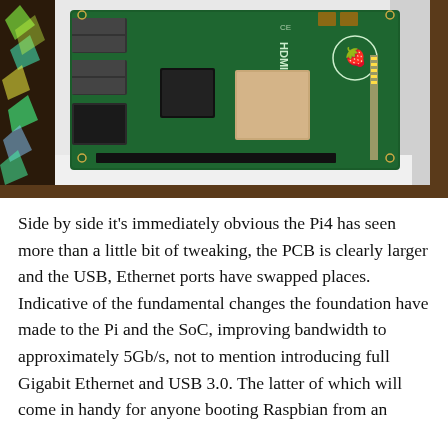[Figure (photo): A Raspberry Pi 4 circuit board (green PCB with HDMI ports, USB ports, Ethernet port, processor chip) sitting in a white box, with a decorative holographic background visible on the left side.]
Side by side it's immediately obvious the Pi4 has seen more than a little bit of tweaking, the PCB is clearly larger and the USB, Ethernet ports have swapped places. Indicative of the fundamental changes the foundation have made to the Pi and the SoC, improving bandwidth to approximately 5Gb/s, not to mention introducing full Gigabit Ethernet and USB 3.0. The latter of which will come in handy for anyone booting Raspbian from an